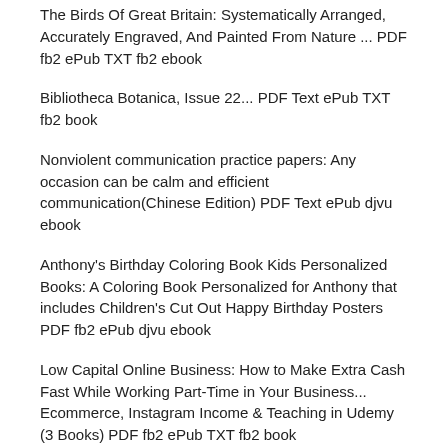The Birds Of Great Britain: Systematically Arranged, Accurately Engraved, And Painted From Nature ... PDF fb2 ePub TXT fb2 ebook
Bibliotheca Botanica, Issue 22... PDF Text ePub TXT fb2 book
Nonviolent communication practice papers: Any occasion can be calm and efficient communication(Chinese Edition) PDF Text ePub djvu ebook
Anthony's Birthday Coloring Book Kids Personalized Books: A Coloring Book Personalized for Anthony that includes Children's Cut Out Happy Birthday Posters PDF fb2 ePub djvu ebook
Low Capital Online Business: How to Make Extra Cash Fast While Working Part-Time in Your Business... Ecommerce, Instagram Income & Teaching in Udemy (3 Books) PDF fb2 ePub TXT fb2 book
Health and Social Care for GCSE: Teacher's Resource Pack (Vocational GCSE) PDF Text ePub djvu book